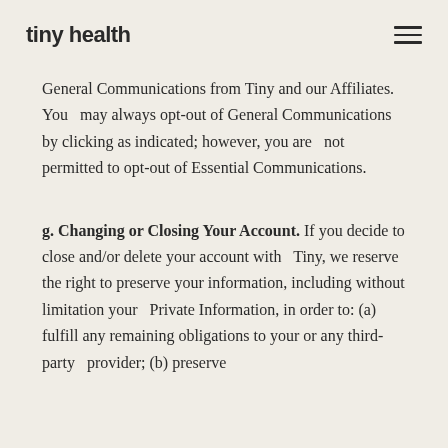tiny health
General Communications from Tiny and our Affiliates. You may always opt-out of General Communications by clicking as indicated; however, you are not permitted to opt-out of Essential Communications.
g. Changing or Closing Your Account. If you decide to close and/or delete your account with Tiny, we reserve the right to preserve your information, including without limitation your Private Information, in order to: (a) fulfill any remaining obligations to your or any third-party provider; (b) preserve